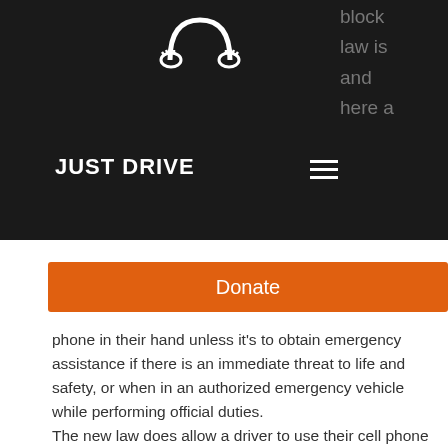[Figure (logo): Just Drive logo — white steering wheel with hands icon on black background]
JUST DRIVE
block
law is
and
here a
[Figure (other): Orange Donate button]
phone in their hand unless it's to obtain emergency assistance if there is an immediate threat to life and safety, or when in an authorized emergency vehicle while performing official duties.
The new law does allow a driver to use their cell phone to make calls, text, listen to music or podcasts and get directions, but only by voice commands or single-touch activation without holding the phone.